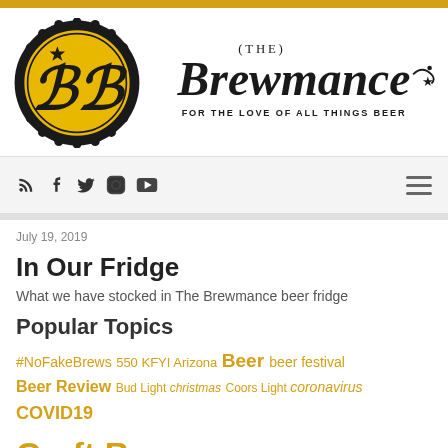[Figure (logo): The Brewmance logo: bottle cap icon with 'BB' script on yellow background, and 'The Brewmance - For the Love of All Things Beer' script text]
Social media icons: RSS, Facebook, Twitter, Instagram, YouTube; hamburger menu
July 19, 2019
In Our Fridge
What we have stocked in The Brewmance beer fridge
Popular Topics
#NoFakeBrews 550 KFYI Arizona Beer beer festival Beer Review Bud Light christmas Coors Light coronavirus COVID19 Craft Beer Craft Beer Review Dark Sky Brewing